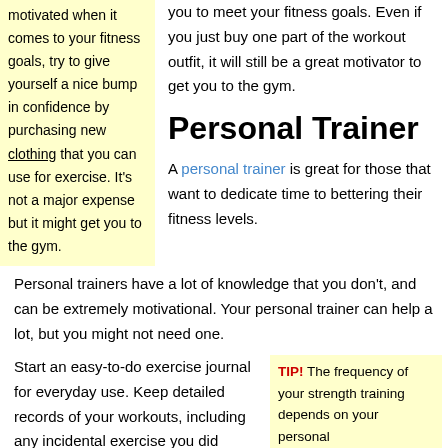motivated when it comes to your fitness goals, try to give yourself a nice bump in confidence by purchasing new clothing that you can use for exercise. It's not a major expense but it might get you to the gym.
you to meet your fitness goals. Even if you just buy one part of the workout outfit, it will still be a great motivator to get you to the gym.
Personal Trainer
A personal trainer is great for those that want to dedicate time to bettering their fitness levels. Personal trainers have a lot of knowledge that you don't, and can be extremely motivational. Your personal trainer can help a lot, but you might not need one.
Start an easy-to-do exercise journal for everyday use. Keep detailed records of your workouts, including any incidental exercise you did during the day. Wear a
TIP! The frequency of your strength training depends on your personal